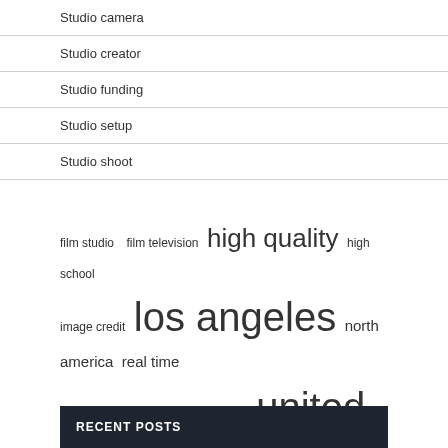Studio camera
Studio creator
Studio funding
Studio setup
Studio shoot
film studio  film television  high quality  high school  image credit  los angeles  north america  real time  square foot  state art  studio space  united states  vice president  video game  wide range
RECENT POSTS